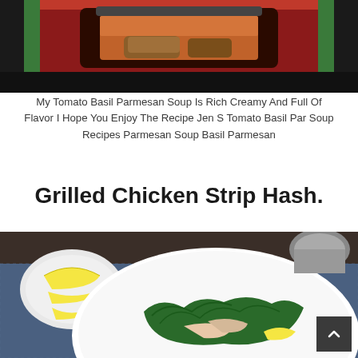[Figure (photo): Tomato basil parmesan soup in a dark bowl on a red patterned placemat, partially cropped at top]
My Tomato Basil Parmesan Soup Is Rich Creamy And Full Of Flavor I Hope You Enjoy The Recipe Jen S Tomato Basil Par Soup Recipes Parmesan Soup Basil Parmesan
Grilled Chicken Strip Hash.
[Figure (photo): Grilled chicken strip hash served in a white bowl with sautéed greens and lemon wedges, on a blue patterned tablecloth]